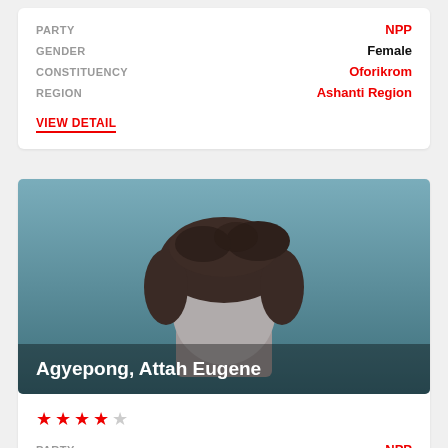PARTY: NPP
GENDER: Female
CONSTITUENCY: Oforikrom
REGION: Ashanti Region
VIEW DETAIL
[Figure (illustration): Silhouette illustration of a person with dark hair on a teal/blue-grey gradient background, with name 'Agyepong, Attah Eugene' overlaid at the bottom left]
Agyepong, Attah Eugene
★★★★☆ (4 out of 5 stars)
PARTY: NPP